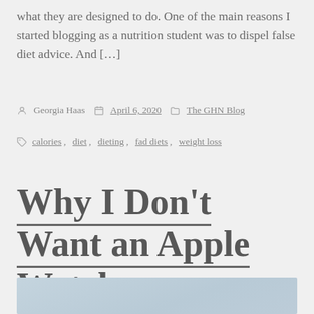what they are designed to do. One of the main reasons I started blogging as a nutrition student was to dispel false diet advice. And […]
By Georgia Haas   April 6, 2020   The GHN Blog
Tags: calories, diet, dieting, fad diets, weight loss
Why I Don't Want an Apple Watch
[Figure (photo): Partially visible image at bottom of page, light blue-gray gradient]